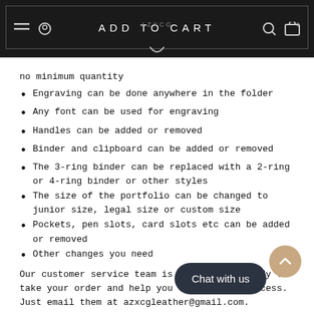ADD TO CART | AZXCG
no minimum quantity
Engraving can be done anywhere in the folder
Any font can be used for engraving
Handles can be added or removed
Binder and clipboard can be added or removed
The 3-ring binder can be replaced with a 2-ring or 4-ring binder or other styles
The size of the portfolio can be changed to junior size, legal size or custom size
Pockets, pen slots, card slots etc can be added or removed
Other changes you need
Our customer service team is standing by ready to take your order and help you through the process. Just email them at azxcgleather@gmail.com.
Note